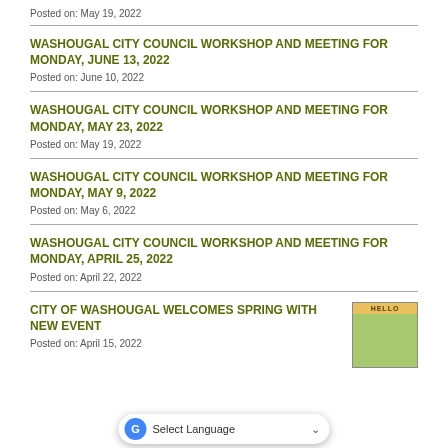Posted on: May 19, 2022
WASHOUGAL CITY COUNCIL WORKSHOP AND MEETING FOR MONDAY, JUNE 13, 2022
Posted on: June 10, 2022
WASHOUGAL CITY COUNCIL WORKSHOP AND MEETING FOR MONDAY, MAY 23, 2022
Posted on: May 19, 2022
WASHOUGAL CITY COUNCIL WORKSHOP AND MEETING FOR MONDAY, MAY 9, 2022
Posted on: May 6, 2022
WASHOUGAL CITY COUNCIL WORKSHOP AND MEETING FOR MONDAY, APRIL 25, 2022
Posted on: April 22, 2022
CITY OF WASHOUGAL WELCOMES SPRING WITH NEW EVENT
Posted on: April 15, 2022